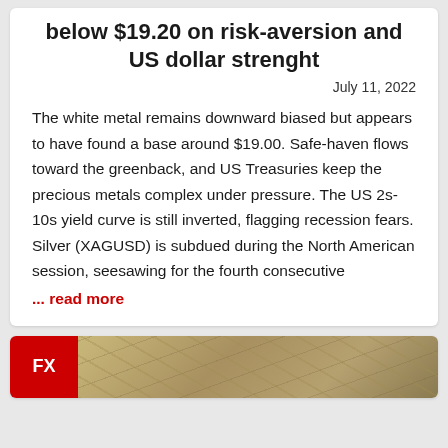Silver Price Forecast: Falls below $19.20 on risk-aversion and US dollar strenght
July 11, 2022
The white metal remains downward biased but appears to have found a base around $19.00. Safe-haven flows toward the greenback, and US Treasuries keep the precious metals complex under pressure. The US 2s-10s yield curve is still inverted, flagging recession fears. Silver (XAGUSD) is subdued during the North American session, seesawing for the fourth consecutive
... read more
[Figure (photo): FX badge (red) next to a world map image at the bottom of the page]